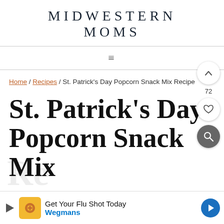MIDWESTERN MOMS
≡
Home / Recipes / St. Patrick's Day Popcorn Snack Mix Recipe
St. Patrick's Day Popcorn Snack Mix
Get Your Flu Shot Today
Wegmans